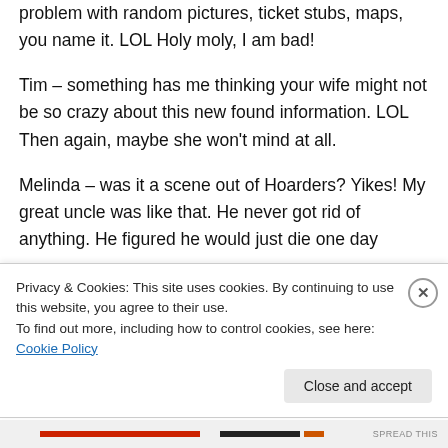problem with random pictures, ticket stubs, maps, you name it. LOL Holy moly, I am bad!
Tim – something has me thinking your wife might not be so crazy about this new found information. LOL Then again, maybe she won't mind at all.
Melinda – was it a scene out of Hoarders? Yikes! My great uncle was like that. He never got rid of anything. He figured he would just die one day
Privacy & Cookies: This site uses cookies. By continuing to use this website, you agree to their use.
To find out more, including how to control cookies, see here: Cookie Policy
Close and accept